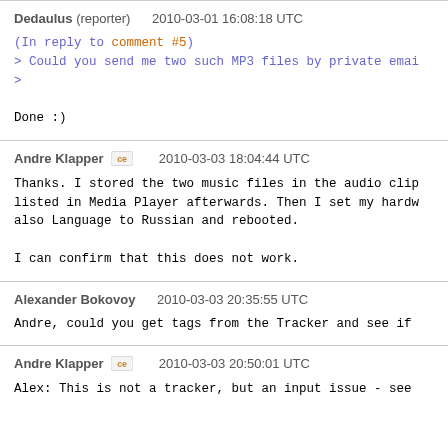Dedaulus (reporter)    2010-03-01 16:08:18 UTC
(In reply to comment #5)
> Could you send me two such MP3 files by private emai
>

Done :)
Andre Klapper    2010-03-03 18:04:44 UTC
Thanks. I stored the two music files in the audio clip
listed in Media Player afterwards. Then I set my hardw
also Language to Russian and rebooted.

I can confirm that this does not work.
Alexander Bokovoy    2010-03-03 20:35:55 UTC
Andre, could you get tags from the Tracker and see if
Andre Klapper    2010-03-03 20:50:01 UTC
Alex: This is not a tracker, but an input issue - see